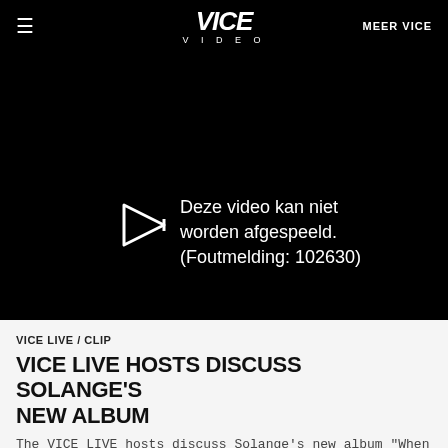≡   VICE VIDEO   MEER VICE
[Figure (screenshot): Black video player area showing error message: 'Deze video kan niet worden afgespeeld. (Foutmelding: 102630)' with a play/forward arrow icon on the left.]
VICE LIVE / CLIP
VICE LIVE HOSTS DISCUSS SOLANGE'S NEW ALBUM
The VICE LIVE hosts discuss Solange's new album "When I Get Home"